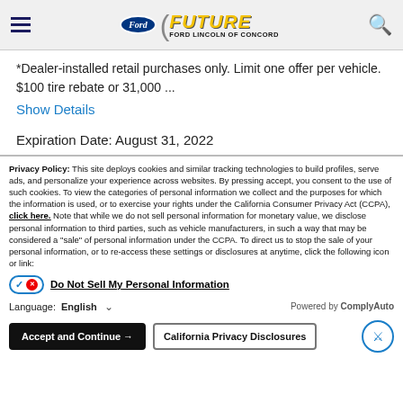Future Ford Lincoln of Concord
*Dealer-installed retail purchases only. Limit one offer per vehicle. $100 tire rebate or 31,000 ...
Show Details
Expiration Date: August 31, 2022
Privacy Policy: This site deploys cookies and similar tracking technologies to build profiles, serve ads, and personalize your experience across websites. By pressing accept, you consent to the use of such cookies. To view the categories of personal information we collect and the purposes for which the information is used, or to exercise your rights under the California Consumer Privacy Act (CCPA), click here. Note that while we do not sell personal information for monetary value, we disclose personal information to third parties, such as vehicle manufacturers, in such a way that may be considered a "sale" of personal information under the CCPA. To direct us to stop the sale of your personal information, or to re-access these settings or disclosures at anytime, click the following icon or link:
Do Not Sell My Personal Information
Language: English   Powered by ComplyAuto
Accept and Continue → | California Privacy Disclosures